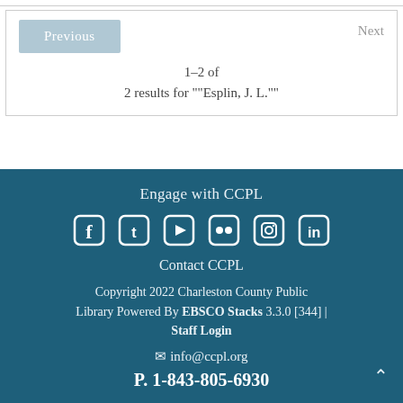Previous
Next
1–2 of
2 results for ""Esplin, J. L.""
Engage with CCPL
[Figure (illustration): Social media icons: Facebook, Twitter, YouTube, Flickr, Instagram, LinkedIn]
Contact CCPL
Copyright 2022 Charleston County Public Library Powered By EBSCO Stacks 3.3.0 [344] | Staff Login
info@ccpl.org
P. 1-843-805-6930